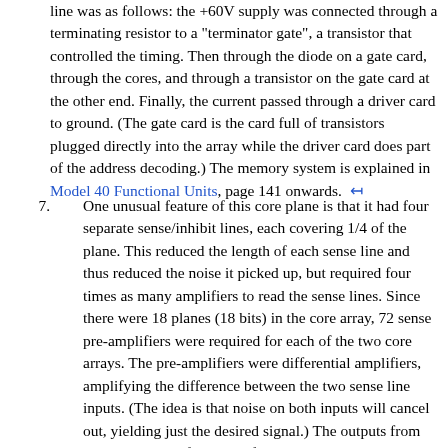line was as follows: the +60V supply was connected through a terminating resistor to a "terminator gate", a transistor that controlled the timing. Then through the diode on a gate card, through the cores, and through a transistor on the gate card at the other end. Finally, the current passed through a driver card to ground. (The gate card is the card full of transistors plugged directly into the array while the driver card does part of the address decoding.) The memory system is explained in Model 40 Functional Units, page 141 onwards. ↤
7. One unusual feature of this core plane is that it had four separate sense/inhibit lines, each covering 1/4 of the plane. This reduced the length of each sense line and thus reduced the noise it picked up, but required four times as many amplifiers to read the sense lines. Since there were 18 planes (18 bits) in the core array, 72 sense pre-amplifiers were required for each of the two core arrays. The pre-amplifiers were differential amplifiers, amplifying the difference between the two sense line inputs. (The idea is that noise on both inputs will cancel out, yielding just the desired signal.) The outputs from all the pre-amplifiers were fed into 18